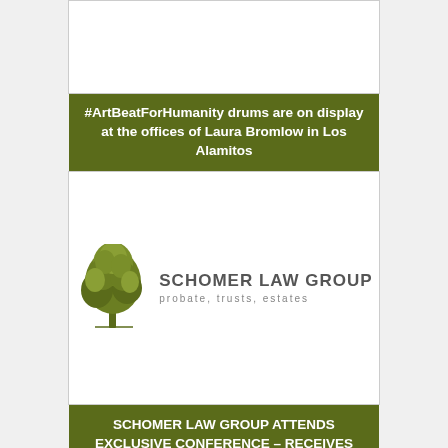[Figure (photo): White rectangular image area at top, appears blank/white]
#ArtBeatForHumanity drums are on display at the offices of Laura Bromlow in Los Alamitos
[Figure (logo): Schomer Law Group logo with tree illustration and text 'SCHOMER LAW GROUP probate, trusts, estates']
SCHOMER LAW GROUP ATTENDS EXCLUSIVE CONFERENCE – RECEIVES IMPORTANT ELDER & ESTATE